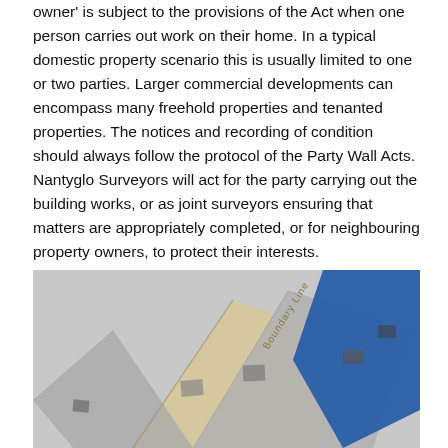owner' is subject to the provisions of the Act when one person carries out work on their home. In a typical domestic property scenario this is usually limited to one or two parties. Larger commercial developments can encompass many freehold properties and tenanted properties. The notices and recording of condition should always follow the protocol of the Party Wall Acts. Nantyglo Surveyors will act for the party carrying out the building works, or as joint surveyors ensuring that matters are appropriately completed, or for neighbouring property owners, to protect their interests.
[Figure (photo): A 3D illustration showing architectural/surveying documents or folded papers with text 'Boundary Line' visible, along with geometric shapes including a blue triangle, overlapping beige and grey angular forms suggesting party wall survey documents or building plans.]